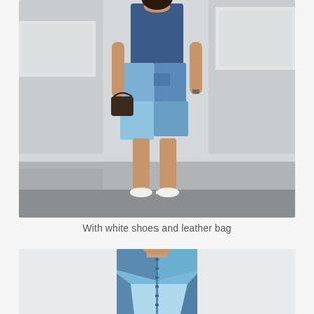[Figure (photo): A woman wearing a patchwork denim dress (multiple shades of blue denim panels) walking on a street, carrying a dark leather handbag and wearing white sneakers. Urban street background with buildings.]
With white shoes and leather bag
[Figure (photo): A woman wearing a sleeveless patchwork denim dress with geometric panels of different shades of light blue denim, shown from approximately the waist up against a white background.]